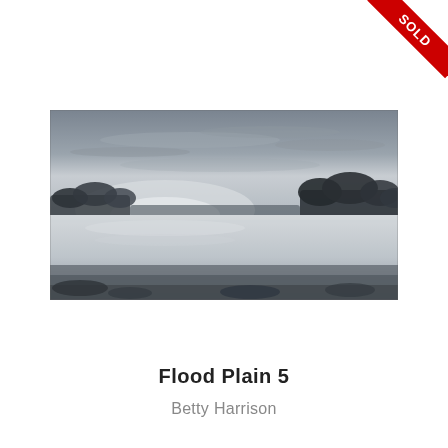[Figure (illustration): A panoramic black and white landscape painting showing a flooded plain with a glowing horizon, dark treelines on either side, misty atmosphere, and still water reflecting the sky. Red 'SOLD' ribbon in top-right corner of the page.]
Flood Plain 5
Betty Harrison